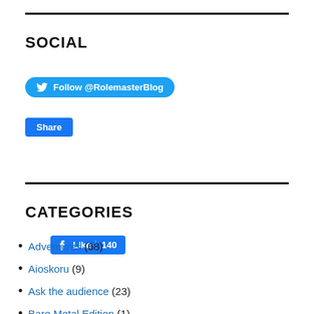SOCIAL
[Figure (other): Twitter Follow button: Follow @RolemasterBlog]
[Figure (other): Facebook Like (140) and Share buttons]
CATEGORIES
Adventures (68)
Aioskoru (9)
Ask the audience (23)
Bare Metal Edition (1)
Blog (7)